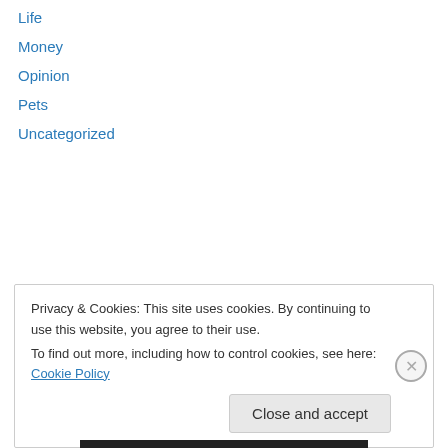Life
Money
Opinion
Pets
Uncategorized
Follow me on twitter :)
Error: Twitter did not respond. Please wait a few minutes and refresh this page.
Privacy & Cookies: This site uses cookies. By continuing to use this website, you agree to their use.
To find out more, including how to control cookies, see here: Cookie Policy
Close and accept